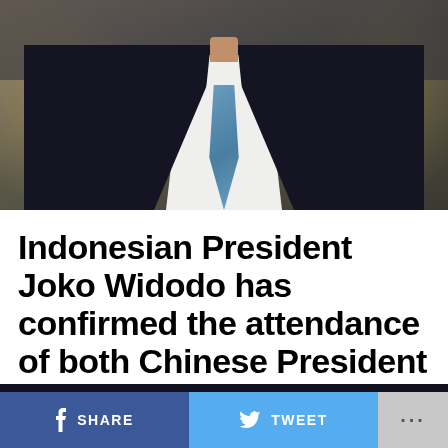[Figure (photo): Photo of Indonesian President Joko Widodo wearing a dark suit with a blue tie and white shirt, with blurred background of uniformed figures]
Indonesian President Joko Widodo has confirmed the attendance of both Chinese President Xi Jinping and Russian President Vladimir Putin at the upcoming G20 summit in Bali.
SHARE  TWEET  ...